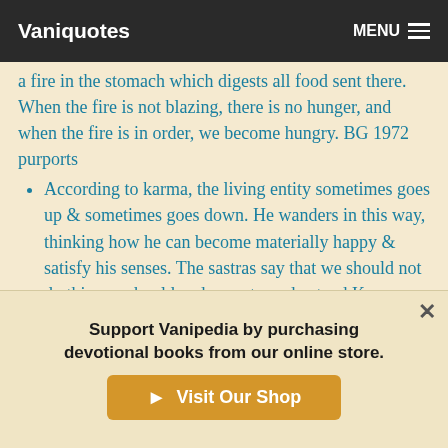Vaniquotes | MENU
a fire in the stomach which digests all food sent there. When the fire is not blazing, there is no hunger, and when the fire is in order, we become hungry. BG 1972 purports
According to karma, the living entity sometimes goes up & sometimes goes down. He wanders in this way, thinking how he can become materially happy & satisfy his senses. The sastras say that we should not do this, we should endeavor to understand Krsna
According to Niti-sastra (civic laws) one should not speak an unpalatable truth to cause distress to others. Distress comes upon us in its own way by the laws of nature, so one
Support Vanipedia by purchasing devotional books from our online store.
Visit Our Shop